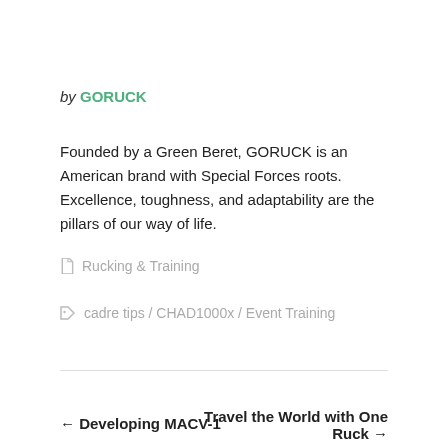by GORUCK
Founded by a Green Beret, GORUCK is an American brand with Special Forces roots. Excellence, toughness, and adaptability are the pillars of our way of life.
Rucking & Training
cadre tips / CHAD1000x / Event Training
← Developing MACV-1
Travel the World with One Ruck →